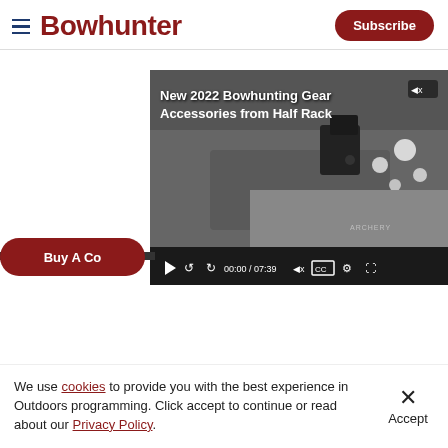Bowhunter
[Figure (screenshot): Video player showing 'New 2022 Bowhunting Gear Accessories from Half Rack' with timestamp 00:00 / 07:39 and playback controls]
Buy A Co...
We use cookies to provide you with the best experience in Outdoors programming. Click accept to continue or read about our Privacy Policy.